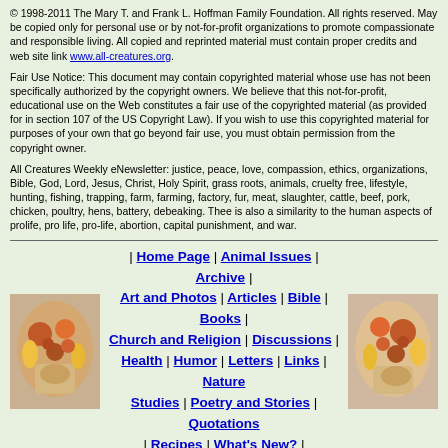© 1998-2011 The Mary T. and Frank L. Hoffman Family Foundation. All rights reserved. May be copied only for personal use or by not-for-profit organizations to promote compassionate and responsible living. All copied and reprinted material must contain proper credits and web site link www.all-creatures.org.
Fair Use Notice: This document may contain copyrighted material whose use has not been specifically authorized by the copyright owners. We believe that this not-for-profit, educational use on the Web constitutes a fair use of the copyrighted material (as provided for in section 107 of the US Copyright Law). If you wish to use this copyrighted material for purposes of your own that go beyond fair use, you must obtain permission from the copyright owner.
All Creatures Weekly eNewsletter: justice, peace, love, compassion, ethics, organizations, Bible, God, Lord, Jesus, Christ, Holy Spirit, grass roots, animals, cruelty free, lifestyle, hunting, fishing, trapping, farm, farming, factory, fur, meat, slaughter, cattle, beef, pork, chicken, poultry, hens, battery, debeaking. Thee is also a similarity to the human aspects of prolife, pro life, pro-life, abortion, capital punishment, and war.
[Figure (illustration): Two decorative images of animals and produce flanking navigation links]
| Home Page | Animal Issues | Archive | Art and Photos | Articles | Bible | Books | Church and Religion | Discussions | Health | Humor | Letters | Links | Nature Studies | Poetry and Stories | Quotations | Recipes | What's New? |
Thank you for visiting all-creatures.org.
Since 1 Jan 2022 you are visitor 1205355 to this site
3 to this page